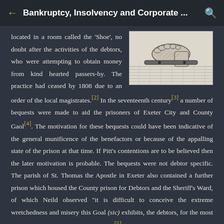Bankruptcy, Insolvency and Corporate ...
[Figure (illustration): Historical illustration of a foot in stocks or shackle, shown in black and white engraving style]
located in a room called the ‘Shoe’, no doubt after the activities of the debtors, who were attempting to obtain money from kind hearted passers-by. The practice had ceased by 1808 due to an order of the local magistrates.[2] In the seventeenth century[3] a number of bequests were made to aid the prisoners of Exeter City and County Gaol[4]. The motivation for these bequests could have been indicative of the general munificence of the benefactors or because of the appalling state of the prison at that time. If Pitt’s contentions are to be believed then the later motivation is probable. The bequests were not debtor specific. The parish of St. Thomas the Apostle in Exeter also contained a further prison which housed the County prison for Debtors and the Sheriff’s Ward, of which Neild observed “it is difficult to conceive the extreme wretchedness and misery this Goal (sic) exhibits, the debtors, for the most part being mechanicks and labourers.”[5]